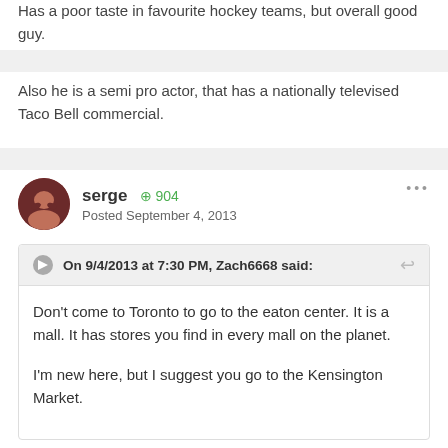Has a poor taste in favourite hockey teams, but overall good guy.
Also he is a semi pro actor, that has a nationally televised Taco Bell commercial.
serge ⊕ 904
Posted September 4, 2013
On 9/4/2013 at 7:30 PM, Zach6668 said:
Don't come to Toronto to go to the eaton center. It is a mall. It has stores you find in every mall on the planet.
I'm new here, but I suggest you go to the Kensington Market.